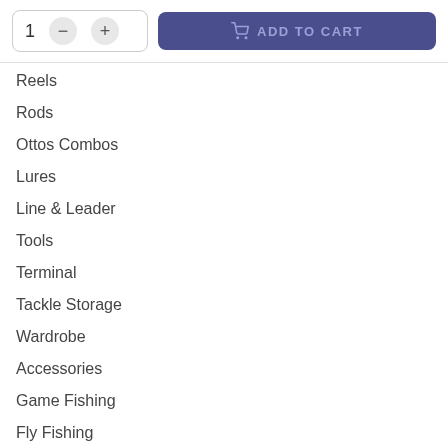[Figure (screenshot): Add to cart UI with quantity selector showing '1' with minus and plus buttons, and a purple 'ADD TO CART' button with shopping cart icon]
Reels
Rods
Ottos Combos
Lures
Line & Leader
Tools
Terminal
Tackle Storage
Wardrobe
Accessories
Game Fishing
Fly Fishing
Mako Brown Glass Polarised Sunglasses - Mako Covert M01-G3H9
SKU: 116357
Brand: Mako
DESCRIPTION Delivery Returns DESCRIPTION Mako Covert M01-G3H9 Covert...